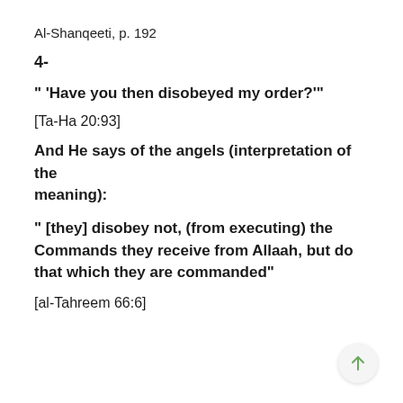Al-Shanqeeti, p. 192
4-
" 'Have you then disobeyed my order?'"
[Ta-Ha 20:93]
And He says of the angels (interpretation of the meaning):
" [they] disobey not, (from executing) the Commands they receive from Allaah, but do that which they are commanded"
[al-Tahreem 66:6]